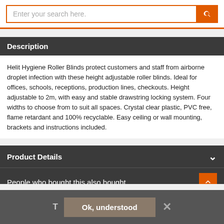[Figure (screenshot): Search bar with orange button and magnifying glass icon]
Description
Helit Hygiene Roller Blinds protect customers and staff from airborne droplet infection with these height adjustable roller blinds. Ideal for offices, schools, receptions, production lines, checkouts. Height adjustable to 2m, with easy and stable drawstring locking system. Four widths to choose from to suit all spaces. Crystal clear plastic, PVC free, flame retardant and 100% recyclable. Easy ceiling or wall mounting, brackets and instructions included.
Product Details
People who bought this also bought
Ok, understood